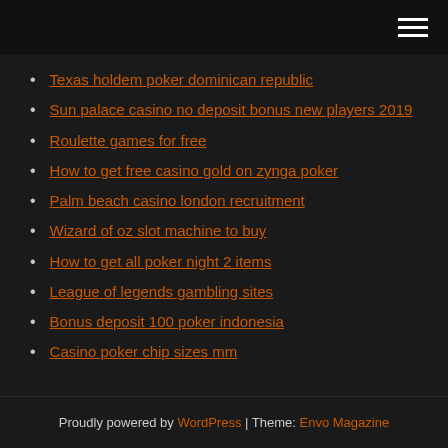[hamburger menu icon]
Texas holdem poker dominican republic
Sun palace casino no deposit bonus new players 2019
Roulette games for free
How to get free casino gold on zynga poker
Palm beach casino london recruitment
Wizard of oz slot machine to buy
How to get all poker night 2 items
League of legends gambling sites
Bonus deposit 100 poker indonesia
Casino poker chip sizes mm
Proudly powered by WordPress | Theme: Envo Magazine